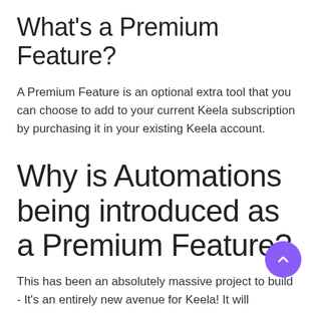What's a Premium Feature?
A Premium Feature is an optional extra tool that you can choose to add to your current Keela subscription by purchasing it in your existing Keela account.
Why is Automations being introduced as a Premium Feature?
This has been an absolutely massive project to build - It's an entirely new avenue for Keela! It will completely